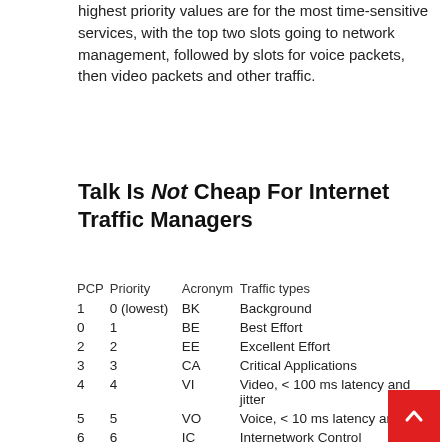highest priority values are for the most time-sensitive services, with the top two slots going to network management, followed by slots for voice packets, then video packets and other traffic.
Talk Is Not Cheap For Internet Traffic Managers
| PCP | Priority | Acronym | Traffic types |
| --- | --- | --- | --- |
| 1 | 0 (lowest) | BK | Background |
| 0 | 1 | BE | Best Effort |
| 2 | 2 | EE | Excellent Effort |
| 3 | 3 | CA | Critical Applications |
| 4 | 4 | VI | Video, < 100 ms latency and jitter |
| 5 | 5 | VO | Voice, < 10 ms latency and jitter |
| 6 | 6 | IC | Internetwork Control |
| 7 | 7
(highest) | NC | Network Control |